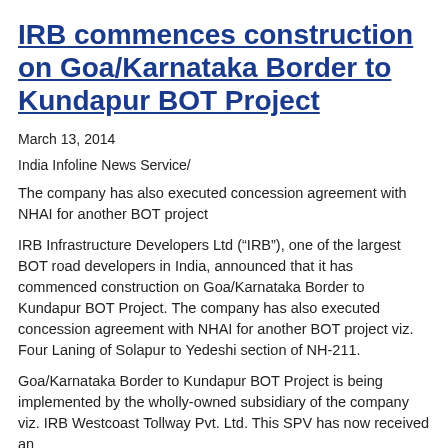IRB commences construction on Goa/Karnataka Border to Kundapur BOT Project
March 13, 2014
India Infoline News Service/
The company has also executed concession agreement with NHAI for another BOT project
IRB Infrastructure Developers Ltd (“IRB”), one of the largest BOT road developers in India, announced that it has commenced construction on Goa/Karnataka Border to Kundapur BOT Project. The company has also executed concession agreement with NHAI for another BOT project viz. Four Laning of Solapur to Yedeshi section of NH-211.
Goa/Karnataka Border to Kundapur BOT Project is being implemented by the wholly-owned subsidiary of the company viz. IRB Westcoast Tollway Pvt. Ltd. This SPV has now received an Appointed Date intimation of the Concession Agreement and